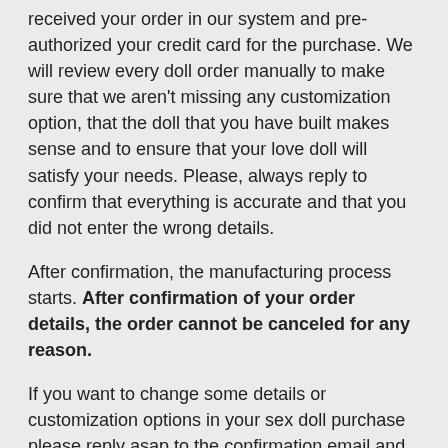received your order in our system and pre-authorized your credit card for the purchase. We will review every doll order manually to make sure that we aren't missing any customization option, that the doll that you have built makes sense and to ensure that your love doll will satisfy your needs. Please, always reply to confirm that everything is accurate and that you did not enter the wrong details.
After confirmation, the manufacturing process starts. After confirmation of your order details, the order cannot be canceled for any reason.
If you want to change some details or customization options in your sex doll purchase please reply asap to the confirmation email and we will get back to you and update the order in 48h.
If requested, we can provide photos of the product before